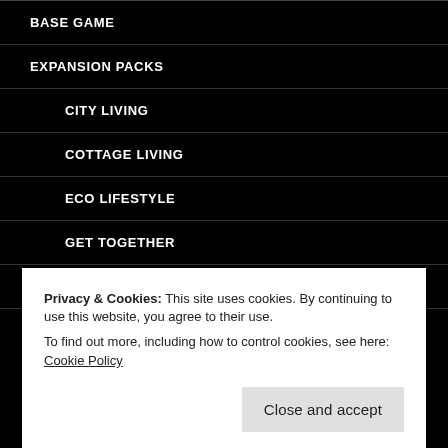BASE GAME
EXPANSION PACKS
CITY LIVING
COTTAGE LIVING
ECO LIFESTYLE
GET TOGETHER
GET TO WORK
SEASONS
Privacy & Cookies: This site uses cookies. By continuing to use this website, you agree to their use.
To find out more, including how to control cookies, see here: Cookie Policy
SPA DAY